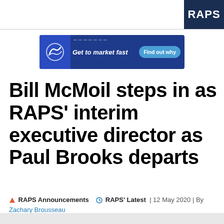RAPS
[Figure (infographic): Advertisement banner: 'Get to market fast' with 'Find out why' button on dark blue background with circular logo icon]
Bill McMoil steps in as RAPS' interim executive director as Paul Brooks departs
🔺 RAPS Announcements  🕐 RAPS' Latest  | 12 May 2020 | By Zachary Brousseau